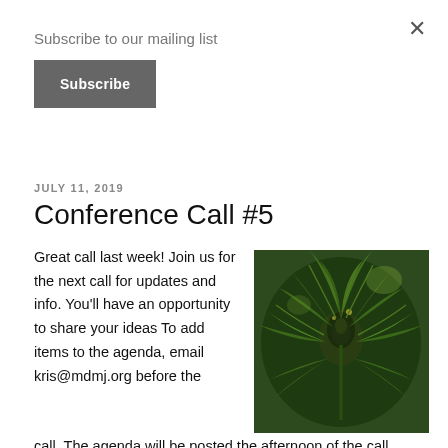Subscribe to our mailing list
Subscribe
×
JULY 11, 2019
Conference Call #5
Great call last week! Join us for the next call for updates and info. You'll have an opportunity to share your ideas To add items to the agenda, email kris@mdmj.org before the call. The agenda will be posted the afternoon of the call.
[Figure (photo): Close-up photograph of a cannabis plant with green leaves and flower bud]